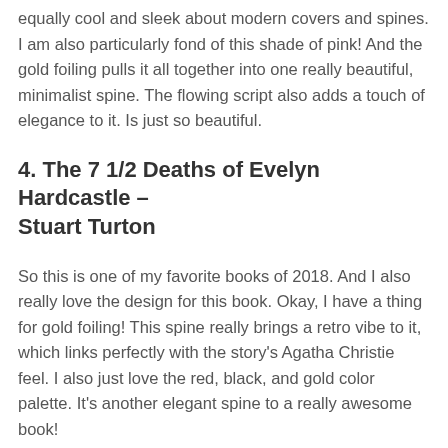equally cool and sleek about modern covers and spines. I am also particularly fond of this shade of pink! And the gold foiling pulls it all together into one really beautiful, minimalist spine. The flowing script also adds a touch of elegance to it. Is just so beautiful.
4. The 7 1/2 Deaths of Evelyn Hardcastle – Stuart Turton
So this is one of my favorite books of 2018. And I also really love the design for this book. Okay, I have a thing for gold foiling! This spine really brings a retro vibe to it, which links perfectly with the story's Agatha Christie feel. I also just love the red, black, and gold color palette. It's another elegant spine to a really awesome book!
5. The Water Knife – Paolo Bacigalupi